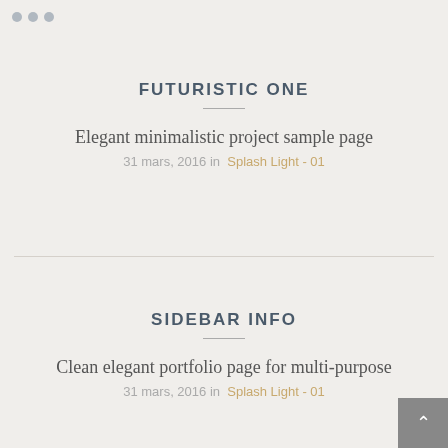[Figure (other): Three grey traffic light dots in top-left corner]
FUTURISTIC ONE
Elegant minimalistic project sample page
31 mars, 2016 in  Splash Light - 01
SIDEBAR INFO
Clean elegant portfolio page for multi-purpose
31 mars, 2016 in  Splash Light - 01